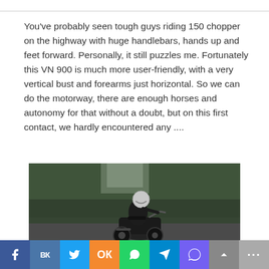You've probably seen tough guys riding 150 chopper on the highway with huge handlebars, hands up and feet forward. Personally, it still puzzles me. Fortunately this VN 900 is much more user-friendly, with a very vertical bust and forearms just horizontal. So we can do the motorway, there are enough horses and autonomy for that without a doubt, but on this first contact, we hardly encountered any ....
[Figure (photo): A motorcyclist wearing a white helmet and dark jacket riding a motorcycle, viewed from the side/back, with a blurred green outdoor background.]
f VK [Twitter] [Odnoklassniki] [WhatsApp] [Telegram] [Viber] [Up] [More]